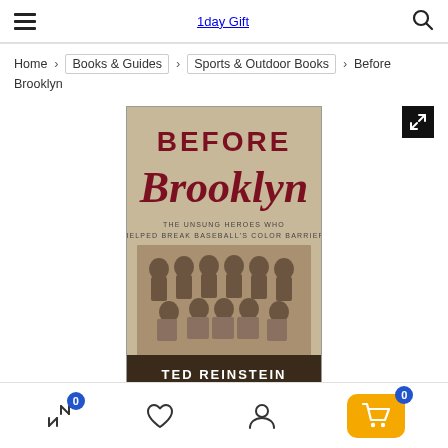1day Gift
Home > Books & Guides > Sports & Outdoor Books > Before Brooklyn
[Figure (photo): Book cover of 'Before Brooklyn: The Unsung Heroes Who Helped Break Baseball's Color Barrier' by Ted Reinstein. Shows title text with 'BEFORE' in block letters and 'Brooklyn' in cursive script, subtitle text, a vintage sepia-toned team photo of Black baseball players, and author name at the bottom.]
Navigation bar with compare, wishlist, account, and cart icons